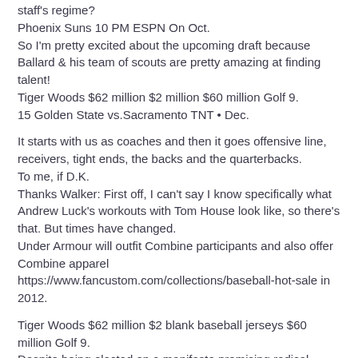staff's regime?
Phoenix Suns 10 PM ESPN On Oct.
So I'm pretty excited about the upcoming draft because Ballard & his team of scouts are pretty amazing at finding talent!
Tiger Woods $62 million $2 million $60 million Golf 9.
15 Golden State vs.Sacramento TNT • Dec.
It starts with us as coaches and then it goes offensive line, receivers, tight ends, the backs and the quarterbacks.
To me, if D.K.
Thanks Walker: First off, I can't say I know specifically what Andrew Luck's workouts with Tom House look like, so there's that. But times have changed.
Under Armour will outfit Combine participants and also offer Combine apparel https://www.fancustom.com/collections/baseball-hot-sale in 2012.
Tiger Woods $62 million $2 blank baseball jerseys $60 million Golf 9.
Despite being elected on a manifesto promising radical change, much of his time in office has been spent dealing with controversies, such as the ongoing fallout from the Russia doping